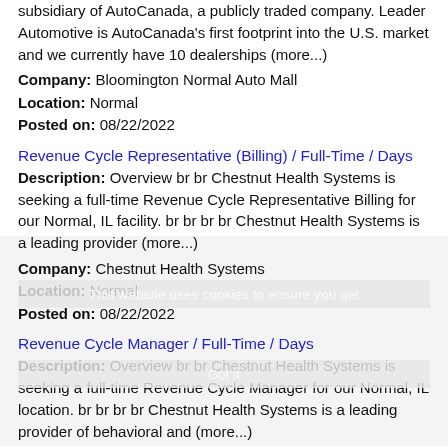subsidiary of AutoCanada, a publicly traded company. Leader Automotive is AutoCanada's first footprint into the U.S. market and we currently have 10 dealerships (more...)
Company: Bloomington Normal Auto Mall
Location: Normal
Posted on: 08/22/2022
Revenue Cycle Representative (Billing) / Full-Time / Days
Description: Overview br br Chestnut Health Systems is seeking a full-time Revenue Cycle Representative Billing for our Normal, IL facility. br br br br Chestnut Health Systems is a leading provider (more...)
Company: Chestnut Health Systems
Location: Normal
Posted on: 08/22/2022
Revenue Cycle Manager / Full-Time / Days
Description: Overview br br Chestnut Health Systems is seeking a full-time Revenue Cycle Manager for our Normal, IL location. br br br br Chestnut Health Systems is a leading provider of behavioral and (more...)
Company: Chestnut Health Systems
Location: Normal
Posted on: 08/22/2022